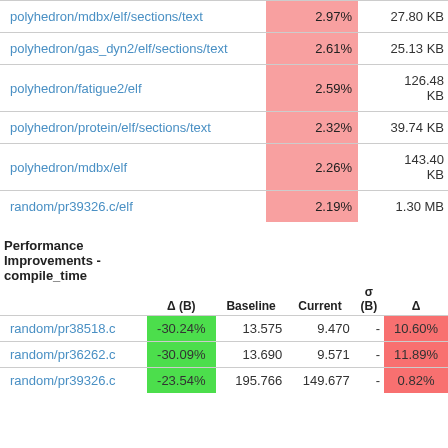| Path | Δ | Size |
| --- | --- | --- |
| polyhedron/mdbx/elf/sections/text | 2.97% | 27.80 KB |
| polyhedron/gas_dyn2/elf/sections/text | 2.61% | 25.13 KB |
| polyhedron/fatigue2/elf | 2.59% | 126.48 KB |
| polyhedron/protein/elf/sections/text | 2.32% | 39.74 KB |
| polyhedron/mdbx/elf | 2.26% | 143.40 KB |
| random/pr39326.c/elf | 2.19% | 1.30 MB |
| Performance Improvements - compile_time | Δ (B) | Baseline | Current | σ (B) | Δ |
| --- | --- | --- | --- | --- | --- |
| random/pr38518.c | -30.24% | 13.575 | 9.470 | - | 10.60% |
| random/pr36262.c | -30.09% | 13.690 | 9.571 | - | 11.89% |
| random/pr39326.c | -23.54% | 195.766 | 149.677 | - | 0.82% |